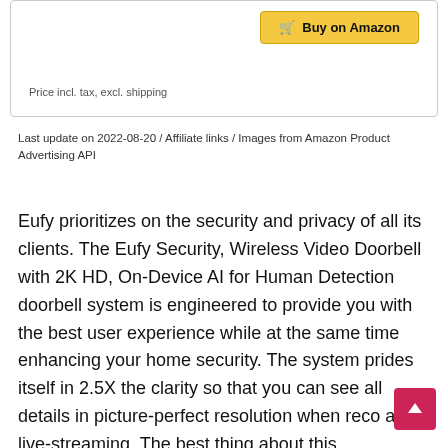[Figure (screenshot): Buy on Amazon button with shopping cart icon, gold/yellow background with dark border]
Price incl. tax, excl. shipping
Last update on 2022-08-20 / Affiliate links / Images from Amazon Product Advertising API
Eufy prioritizes on the security and privacy of all its clients. The Eufy Security, Wireless Video Doorbell with 2K HD, On-Device AI for Human Detection doorbell system is engineered to provide you with the best user experience while at the same time enhancing your home security. The system prides itself in 2.5X the clarity so that you can see all details in picture-perfect resolution when reco and live-streaming. The best thing about this